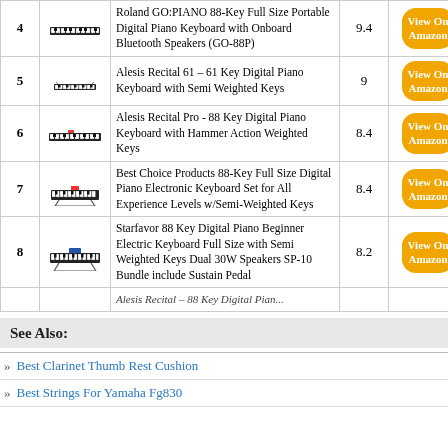| # | Image | Product | Score | Link |
| --- | --- | --- | --- | --- |
| 4 | [image] | Roland GO:PIANO 88-Key Full Size Portable Digital Piano Keyboard with Onboard Bluetooth Speakers (GO-88P) | 9.4 | View On Amazon |
| 5 | [image] | Alesis Recital 61 – 61 Key Digital Piano Keyboard with Semi Weighted Keys | 9 | View On Amazon |
| 6 | [image] | Alesis Recital Pro - 88 Key Digital Piano Keyboard with Hammer Action Weighted Keys | 8.4 | View On Amazon |
| 7 | [image] | Best Choice Products 88-Key Full Size Digital Piano Electronic Keyboard Set for All Experience Levels w/Semi-Weighted Keys | 8.4 | View On Amazon |
| 8 | [image] | Starfavor 88 Key Digital Piano Beginner Electric Keyboard Full Size with Semi Weighted Keys Dual 30W Speakers SP-10 Bundle include Sustain Pedal | 8.2 | View On Amazon |
| 9 | [image] | Alesis Recital – 88 Key Digital Pian... |  |  |
See Also:
Best Clarinet Thumb Rest Cushion
Best Strings For Yamaha Fg830